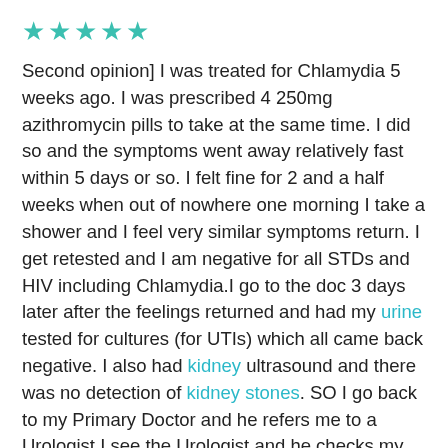[Figure (other): Five teal/green star rating icons]
Second opinion] I was treated for Chlamydia 5 weeks ago. I was prescribed 4 250mg azithromycin pills to take at the same time. I did so and the symptoms went away relatively fast within 5 days or so. I felt fine for 2 and a half weeks when out of nowhere one morning I take a shower and I feel very similar symptoms return. I get retested and I am negative for all STDs and HIV including Chlamydia.I go to the doc 3 days later after the feelings returned and had my urine tested for cultures (for UTIs) which all came back negative. I also had kidney ultrasound and there was no detection of kidney stones. SO I go back to my Primary Doctor and he refers me to a Urologist.I see the Urologist and he checks my prostate with his finger and does an ultrasound on my bladder. I was told my prostate seems smooth and fine, and that the ultra scan showed only 10ml in my bladder, and that my bladder is emptying fine. They tested me again for Chlamydia and all